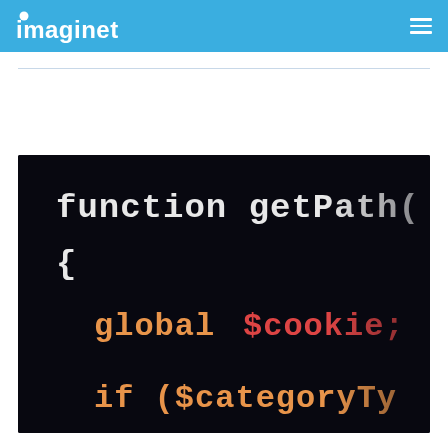imaginet
[Figure (screenshot): Dark-themed code editor screenshot showing PHP/JavaScript code: 'function getPath(' on first line, '{' on second line, 'global $cookie;' in orange on third line, 'if ($categoryTy' in orange on fourth line. White and orange monospace text on black background.]